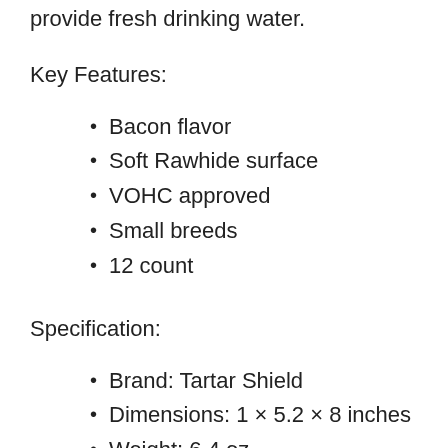provide fresh drinking water.
Key Features:
Bacon flavor
Soft Rawhide surface
VOHC approved
Small breeds
12 count
Specification:
Brand: Tartar Shield
Dimensions: 1 × 5.2 × 8 inches
Weight: 6.4 oz.